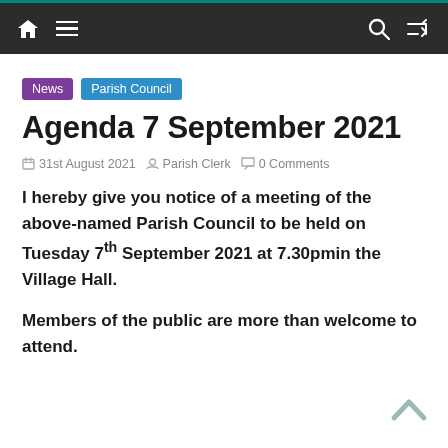Navigation bar with home, menu, search, and shuffle icons
News   Parish Council
Agenda 7 September 2021
31st August 2021   Parish Clerk   0 Comments
I hereby give you notice of a meeting of the above-named Parish Council to be held on Tuesday 7th September 2021 at 7.30pmin the Village Hall.
Members of the public are more than welcome to attend.